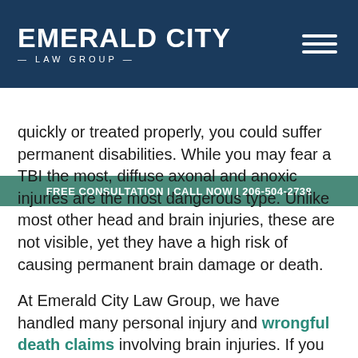EMERALD CITY LAW GROUP
FREE CONSULTATION | CALL NOW | 206-504-2738
quickly or treated properly, you could suffer permanent disabilities. While you may fear a TBI the most, diffuse axonal and anoxic injuries are the most dangerous type. Unlike most other head and brain injuries, these are not visible, yet they have a high risk of causing permanent brain damage or death.
At Emerald City Law Group, we have handled many personal injury and wrongful death claims involving brain injuries. If you or a loved one suffered a head or brain injury in an accident, do not hesitate to call our Seattle brain injury attorneys to discuss your options.